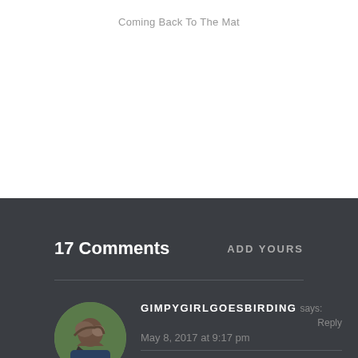Coming Back To The Mat
17 Comments
ADD YOURS
GIMPYGIRLGOESBIRDING says: Reply
May 8, 2017 at 9:17 pm
Yay you! So happy to read your update. Imagine 🙂 So very happy for you...